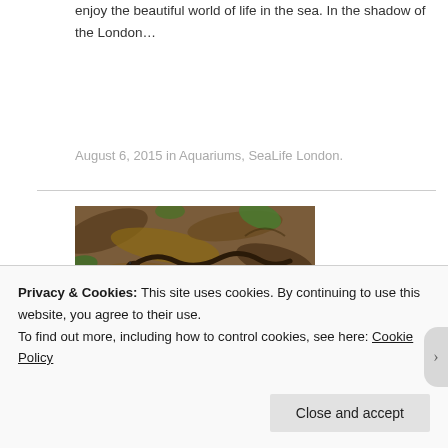enjoy the beautiful world of life in the sea. In the shadow of the London...
August 6, 2015 in Aquariums, SeaLife London.
[Figure (photo): Close-up photo of a brown snake or lizard camouflaged among dead leaves and green vegetation on the ground]
Privacy & Cookies: This site uses cookies. By continuing to use this website, you agree to their use.
To find out more, including how to control cookies, see here: Cookie Policy